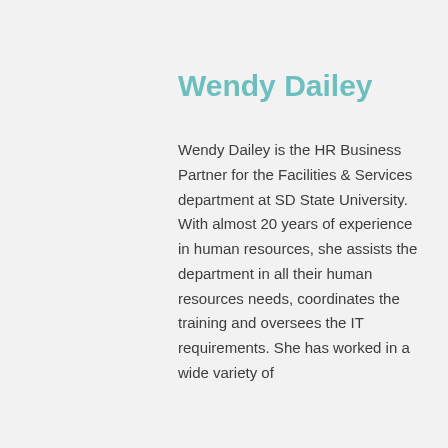Wendy Dailey
Wendy Dailey is the HR Business Partner for the Facilities & Services department at SD State University. With almost 20 years of experience in human resources, she assists the department in all their human resources needs, coordinates the training and oversees the IT requirements. She has worked in a wide variety of